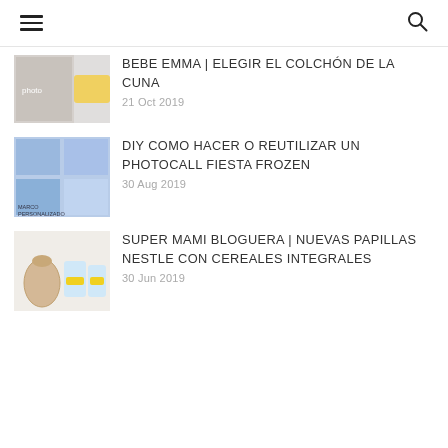hamburger menu | search icon
[Figure (photo): Partially visible thumbnail for baby mattress post]
BEBE EMMA | ELEGIR EL COLCHÓN DE LA CUNA
21 Oct 2019
[Figure (photo): Frozen party photocall DIY thumbnail showing Frozen themed decorations and Marco Personalizado Frozen text]
DIY COMO HACER O REUTILIZAR UN PHOTOCALL FIESTA FROZEN
30 Aug 2019
[Figure (photo): Super mami bloguera thumbnail showing a wicker basket and Nestle baby food products]
SUPER MAMI BLOGUERA | NUEVAS PAPILLAS NESTLE CON CEREALES INTEGRALES
30 Jun 2019